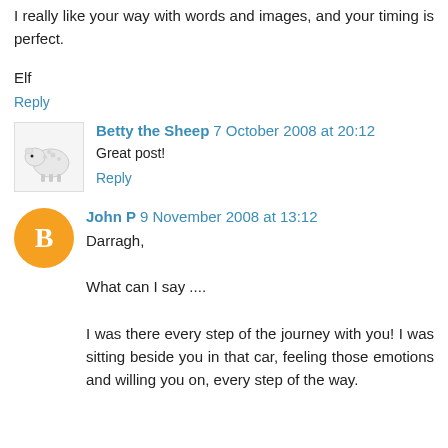I really like your way with words and images, and your timing is perfect.
Elf
Reply
Betty the Sheep  7 October 2008 at 20:12
Great post!
Reply
John P  9 November 2008 at 13:12
Darragh,
What can I say ....
I was there every step of the journey with you! I was sitting beside you in that car, feeling those emotions and willing you on, every step of the way.